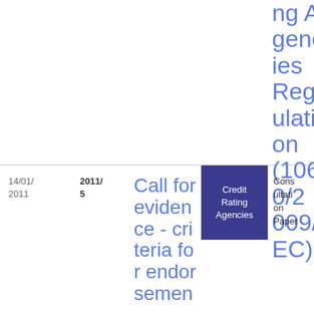ng Agencies Regulation (1060/2009/EC)
| Date | Ref | Title | Tag | Type | Download |
| --- | --- | --- | --- | --- | --- |
| 14/01/2011 | 2011/5 | Call for evidence - criteria for endorsement | Credit Rating Agencies | Consultation Paper | PDF 21 8.02 KB |